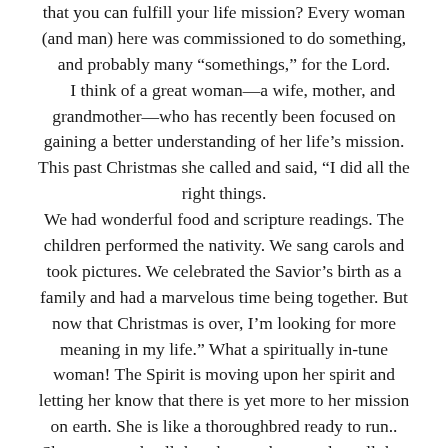that you can fulfill your life mission? Every woman (and man) here was commissioned to do something, and probably many “somethings,” for the Lord. I think of a great woman—a wife, mother, and grandmother—who has recently been focused on gaining a better understanding of her life’s mission. This past Christmas she called and said, “I did all the right things. We had wonderful food and scripture readings. The children performed the nativity. We sang carols and took pictures. We celebrated the Savior’s birth as a family and had a marvelous time being together. But now that Christmas is over, I’m looking for more meaning in my life.” What a spiritually in-tune woman! The Spirit is moving upon her spirit and letting her know that there is yet more to her mission on earth. She is like a thoroughbred ready to run.. She wants to do all that she was born to do—all that she agreed premortally to do